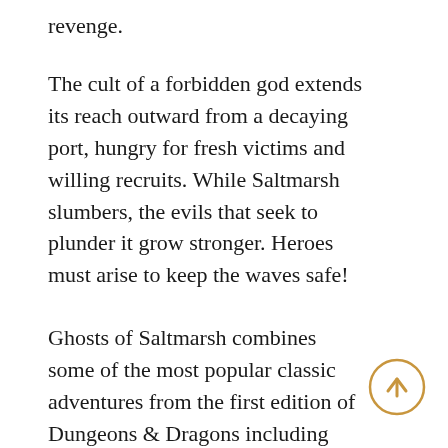revenge.
The cult of a forbidden god extends its reach outward from a decaying port, hungry for fresh victims and willing recruits. While Saltmarsh slumbers, the evils that seek to plunder it grow stronger. Heroes must arise to keep the waves safe!
Ghosts of Saltmarsh combines some of the most popular classic adventures from the first edition of Dungeons & Dragons including the classic ‘U’ series and some of the best nautical adventures from Dungeon
[Figure (illustration): A circular button with a golden/tan border and an upward-pointing arrow in the same golden color, on a white background.]